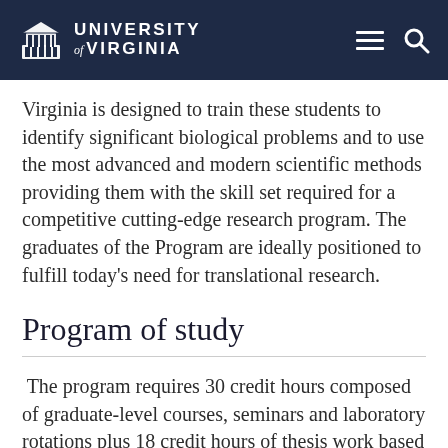University of Virginia
Virginia is designed to train these students to identify significant biological problems and to use the most advanced and modern scientific methods providing them with the skill set required for a competitive cutting-edge research program. The graduates of the Program are ideally positioned to fulfill today's need for translational research.
Program of study
The program requires 30 credit hours composed of graduate-level courses, seminars and laboratory rotations plus 18 credit hours of thesis work based